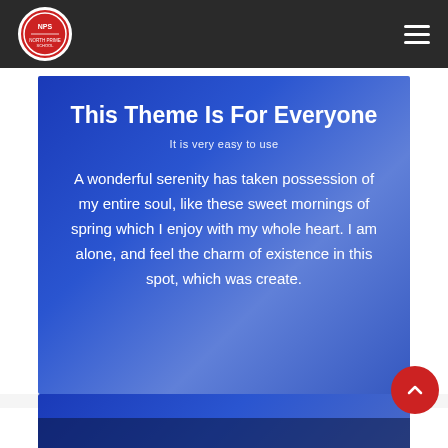[Figure (logo): NPS school logo — circular red badge with white border and NPS text]
This Theme Is For Everyone
It is very easy to use
A wonderful serenity has taken possession of my entire soul, like these sweet mornings of spring which I enjoy with my whole heart. I am alone, and feel the charm of existence in this spot, which was create.
[Figure (photo): Partial blue-tinted photo section at bottom of page]